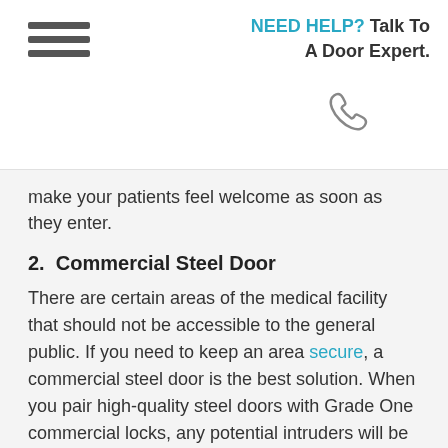NEED HELP? Talk To A Door Expert.
make your patients feel welcome as soon as they enter.
2.  Commercial Steel Door
There are certain areas of the medical facility that should not be accessible to the general public. If you need to keep an area secure, a commercial steel door is the best solution. When you pair high-quality steel doors with Grade One commercial locks, any potential intruders will be stopped in their tracks.
Steel doors are extremely long-lasting, too. In fact, they can survive for decades with proper